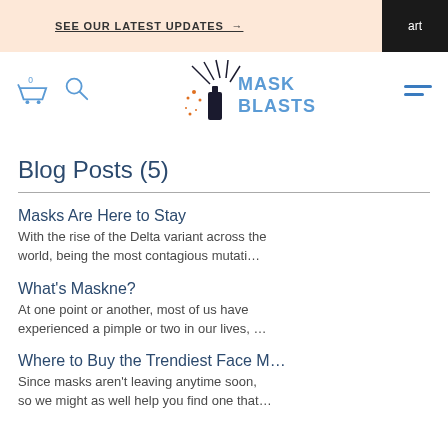SEE OUR LATEST UPDATES →
[Figure (logo): Mask Blasts logo with spray bottle and explosion graphic, blue text]
Blog Posts (5)
Masks Are Here to Stay - With the rise of the Delta variant across the world, being the most contagious mutati...
What's Maskne? - At one point or another, most of us have experienced a pimple or two in our lives, ...
Where to Buy the Trendiest Face M... - Since masks aren't leaving anytime soon, so we might as well help you find one that...